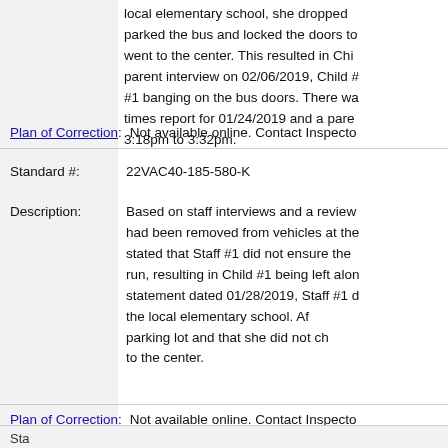local elementary school, she dropped parked the bus and locked the doors to went to the center. This resulted in Chi parent interview on 02/06/2019, Child # #1 banging on the bus doors. There wa times report for 01/24/2019 and a pare 3:18pm to 3:32pm.
Plan of Correction: Not available online. Contact Inspecto
Standard #: 22VAC40-185-580-K
Description: Based on staff interviews and a review had been removed from vehicles at the stated that Staff #1 did not ensure the run, resulting in Child #1 being left alon statement dated 01/28/2019, Staff #1 d the local elementary school. Af parking lot and that she did not ch to the center.
Plan of Correction: Not available online. Contact Inspecto
Sta